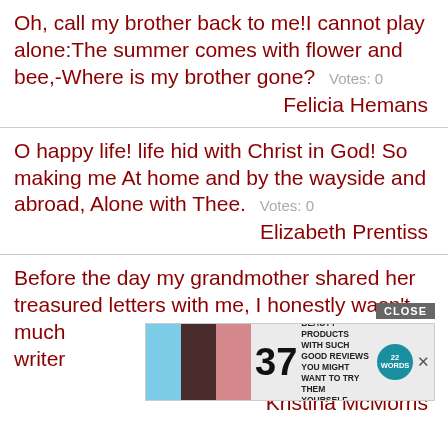Oh, call my brother back to me!I cannot play alone:The summer comes with flower and bee,-Where is my brother gone?  Votes: 0
Felicia Hemans
O happy life! life hid with Christ in God! So making me At home and by the wayside and abroad, Alone with Thee.  Votes: 0
Elizabeth Prentiss
Before the day my grandmother shared her treasured letters with me, I honestly wasn't much [of a] writer
[Figure (screenshot): Advertisement overlay with CLOSE button, showing beauty products images, number 37, text 'BEAUTY PRODUCTS WITH SUCH GOOD REVIEWS YOU MIGHT WANT TO TRY THEM YOURSELF', and 22 Words logo]
Kristina McMorris